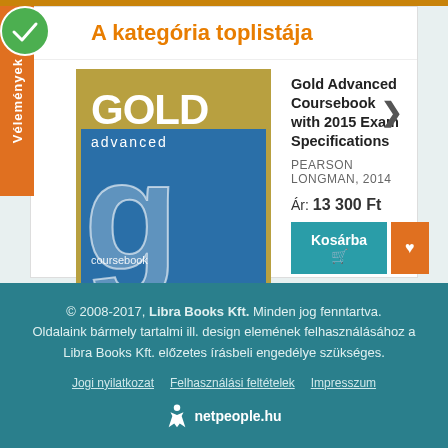A kategória toplistája
[Figure (illustration): Gold Advanced Coursebook book cover with gold and blue design featuring a large letter G]
Gold Advanced Coursebook with 2015 Exam Specifications
PEARSON LONGMAN, 2014
Ár: 13 300 Ft
Kosárba
© 2008-2017, Libra Books Kft. Minden jog fenntartva. Oldalaink bármely tartalmi ill. design elemének felhasználásához a Libra Books Kft. előzetes írásbeli engedélye szükséges.
Jogi nyilatkozat
Felhasználási feltételek
Impresszum
netpeople.hu